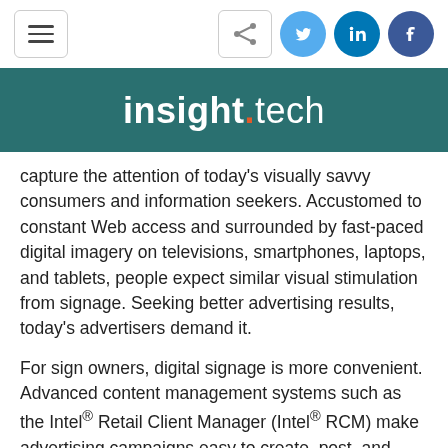[Figure (screenshot): Navigation bar with hamburger menu button on left, share button and social media icons (Twitter, LinkedIn, Facebook) on right]
[Figure (logo): insight.tech logo in white text on teal/dark cyan background banner, with orange dot between insight and tech]
capture the attention of today's visually savvy consumers and information seekers. Accustomed to constant Web access and surrounded by fast-paced digital imagery on televisions, smartphones, laptops, and tablets, people expect similar visual stimulation from signage. Seeking better advertising results, today's advertisers demand it.
For sign owners, digital signage is more convenient. Advanced content management systems such as the Intel® Retail Client Manager (Intel® RCM) make advertising campaigns easy to create, post, and